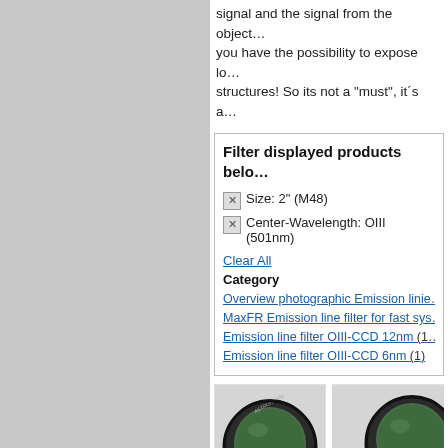signal and the signal from the object…you have the possibility to expose lo…structures! So its not a "must", it´s a…
Filter displayed products belo…
⊠ Size: 2" (M48)
⊠ Center-Wavelength: OIII (501nm)
Clear All
Category
Overview photographic Emission linie…
MaxFR Emission line filter for fast sys…
Emission line filter OIII-CCD 12nm (1…
Emission line filter OIII-CCD 6nm (1)
[Figure (photo): Astronomik OIII 12nm CCD 2" (M48) optical filter shown at an angle, circular black metal frame with dark green glass]
Astronomik OIII 12nm CCD 2" (M48)
[Figure (photo): Partial view of another Astronomik filter, circular black metal frame, partial view of green tinted optical glass]